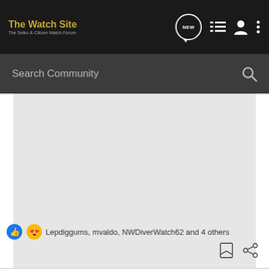The Watch Site — The Seiko & Citizen Watch Forum
Search Community
[Figure (screenshot): Large grey placeholder content area, likely an embedded image or video post on a watch forum]
Lepdiggums, mvaldo, NWDiverWatch62 and 4 others